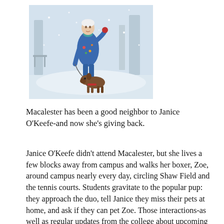[Figure (photo): An elderly woman in a colorful blue jacket stands in the snow holding a leash attached to a boxer dog. The scene is snowy with trees in the background.]
Macalester has been a good neighbor to Janice O'Keefe-and now she's giving back.
Janice O'Keefe didn't attend Macalester, but she lives a few blocks away from campus and walks her boxer, Zoe, around campus nearly every day, circling Shaw Field and the tennis courts. Students gravitate to the popular pup: they approach the duo, tell Janice they miss their pets at home, and ask if they can pet Zoe. Those interactions-as well as regular updates from the college about upcoming events-connect Janice to the Mac community.